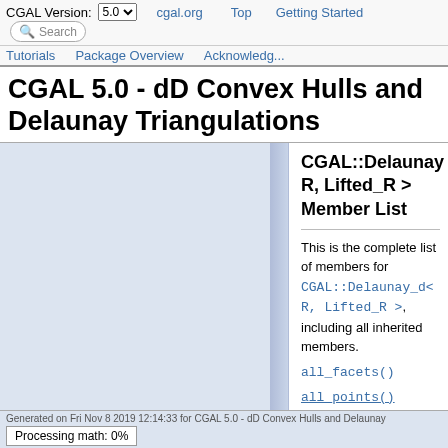CGAL Version: 5.0   cgal.org   Top   Getting Started   Tutorials   Package Overview   Acknowledgements   Search
CGAL 5.0 - dD Convex Hulls and Delaunay Triangulations
CGAL::Delaunay R, Lifted_R > Member List
This is the complete list of members for CGAL::Delaunay_d< R, Lifted_R >, including all inherited members.
all_facets()
all_points()
Generated on Fri Nov 8 2019 12:14:33 for CGAL 5.0 - dD Convex Hulls and Delaunay
Processing math: 0%